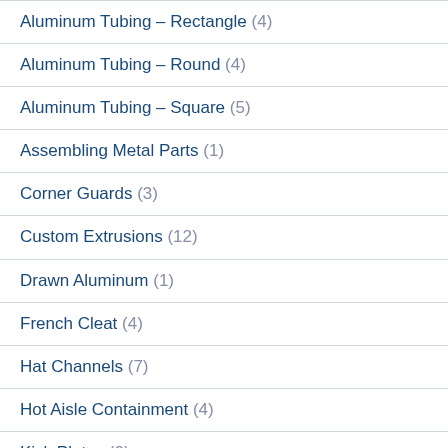Aluminum Tubing – Rectangle (4)
Aluminum Tubing – Round (4)
Aluminum Tubing – Square (5)
Assembling Metal Parts (1)
Corner Guards (3)
Custom Extrusions (12)
Drawn Aluminum (1)
French Cleat (4)
Hat Channels (7)
Hot Aisle Containment (4)
Kick Plates (2)
Nosing (2)